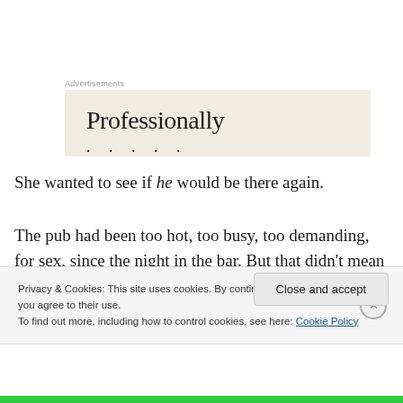Advertisements
[Figure (screenshot): Advertisement box with beige background showing the word 'Professionally' in large serif font with decorative dots below]
She wanted to see if he would be there again.
The pub had been too hot, too busy, too demanding, for sex, since the night in the bar. But that didn't mean the thrumming in her veins had died down, the vague feeling
Privacy & Cookies: This site uses cookies. By continuing to use this website, you agree to their use.
To find out more, including how to control cookies, see here: Cookie Policy
Close and accept